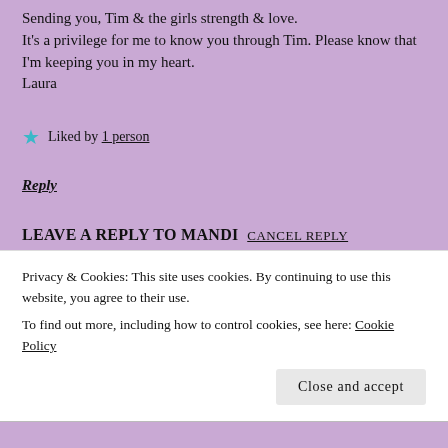Sending you, Tim & the girls strength & love.
It's a privilege for me to know you through Tim. Please know that I'm keeping you in my heart.
Laura
★ Liked by 1 person
Reply
LEAVE A REPLY TO MANDI  CANCEL REPLY
Your email address will not be published. Required fields are marked
Privacy & Cookies: This site uses cookies. By continuing to use this website, you agree to their use.
To find out more, including how to control cookies, see here: Cookie Policy
Close and accept